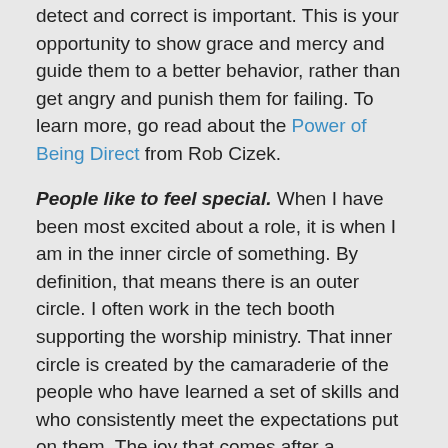detect and correct is important. This is your opportunity to show grace and mercy and guide them to a better behavior, rather than get angry and punish them for failing. To learn more, go read about the Power of Being Direct from Rob Cizek.
People like to feel special. When I have been most excited about a role, it is when I am in the inner circle of something. By definition, that means there is an outer circle. I often work in the tech booth supporting the worship ministry. That inner circle is created by the camaraderie of the people who have learned a set of skills and who consistently meet the expectations put on them. The joy that comes after a “successful” worship service is much greater than when success was never defined.
Volunteers are people. Those last three points